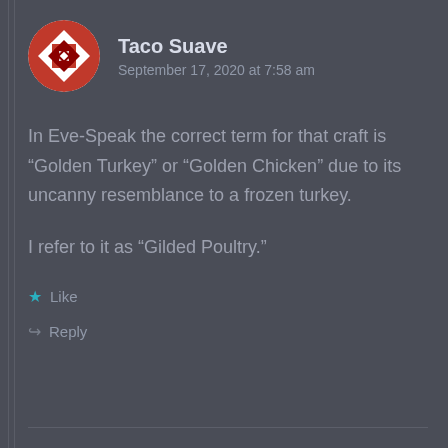[Figure (illustration): Round avatar with red and white geometric quilt-like pattern]
Taco Suave
September 17, 2020 at 7:58 am
In Eve-Speak the correct term for that craft is “Golden Turkey” or “Golden Chicken” due to its uncanny resemblance to a frozen turkey.
I refer to it as “Gilded Poultry.”
Like
Reply